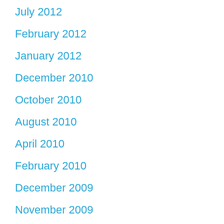July 2012
February 2012
January 2012
December 2010
October 2010
August 2010
April 2010
February 2010
December 2009
November 2009
August 2009
April 2009
November 2008
October 2008